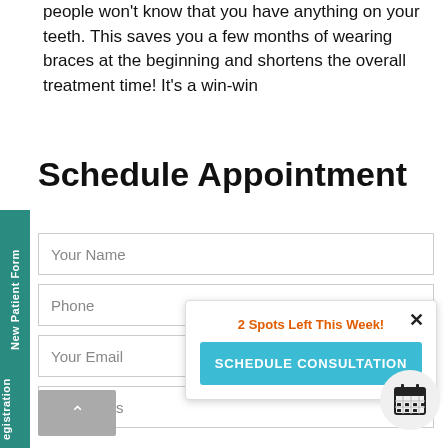people won't know that you have anything on your teeth. This saves you a few months of wearing braces at the beginning and shortens the overall treatment time! It's a win-win
Schedule Appointment
Your Name
Phone
Your Email
Comments
[Figure (screenshot): Popup overlay with orange text '2 Spots Left This Week!' and a teal 'SCHEDULE CONSULTATION' button with an X close button]
[Figure (other): Calendar icon in a white circle button]
New Patient Form
egistration